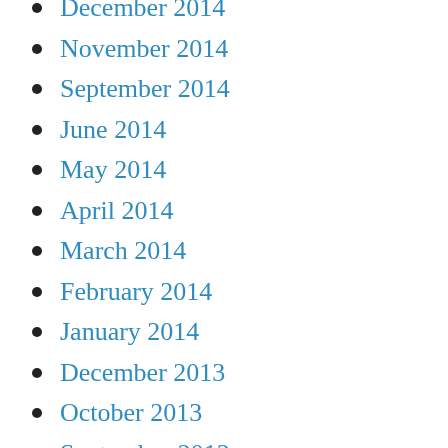December 2014
November 2014
September 2014
June 2014
May 2014
April 2014
March 2014
February 2014
January 2014
December 2013
October 2013
September 2013
August 2013
July 2013
June 2013
April 2013